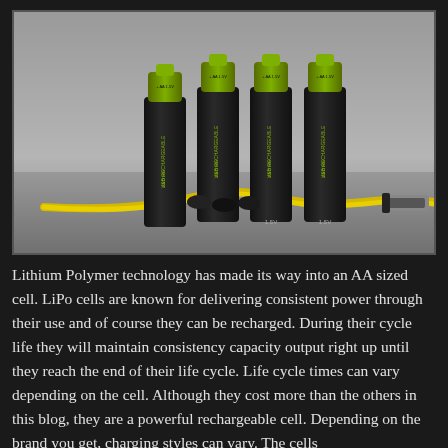[Figure (photo): Four AA-sized black and green USB rechargeable lithium polymer batteries standing upright, with a yellow USB cable and USB connector in the foreground, on a gray background.]
Lithium Polymer technology has made its way into an AA sized cell. LiPo cells are known for delivering consistent power through their use and of course they can be recharged. During their cycle life they will maintain consistency capacity output right up until they reach the end of their life cycle. Life cycle times can vary depending on the cell. Although they cost more than the others in this blog, they are a powerful rechargeable cell. Depending on the brand you get, charging styles can vary. The cells